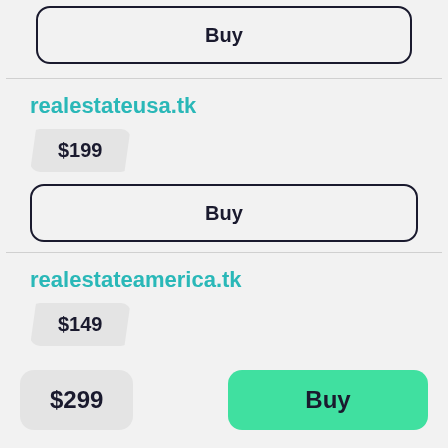Buy
realestateusa.tk
$199
Buy
realestateamerica.tk
$149
$299
Buy